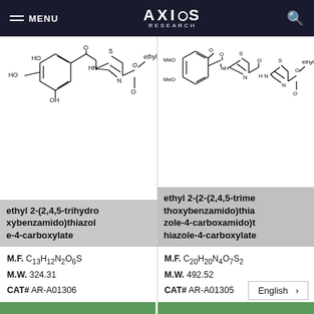MENU | AXIOS RESEARCH
[Figure (chemical-structure): Chemical structure of ethyl 2-(2,4,5-trihydroxybenzamido)thiazole-4-carboxylate showing HO groups, thiazole ring, and ester group]
ethyl 2-(2,4,5-trihydroxybenzamido)thiazole-4-carboxylate
M.F. C13H12N2O6S
M.W. 324.31
CAT# AR-A01306
[Figure (chemical-structure): Chemical structure of ethyl 2-(2-(2,4,5-trimethoxybenzamido)thiazole-4-carboxamido)thiazole-4-carboxylate showing methoxy groups, two thiazole rings, and ester group]
ethyl 2-(2-(2,4,5-trimethoxybenzamido)thiazole-4-carboxamido)thiazole-4-carboxylate
M.F. C20H20N4O7S2
M.W. 492.52
CAT# AR-A01305